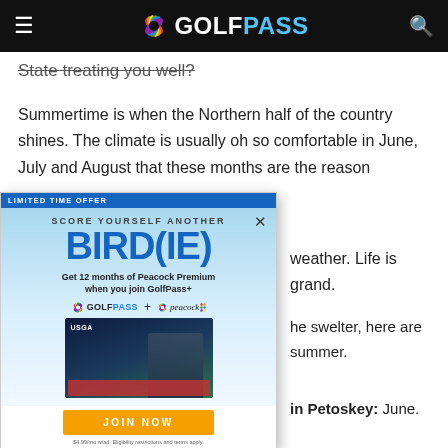GOLFPASS
State treating you well?
Summertime is when the Northern half of the country shines. The climate is usually oh so comfortable in June, July and August that these months are the reason
weather. Life is grand.
he swelter, here are summer.
[Figure (screenshot): GolfPass promotional ad overlay: 'LIMITED TIME OFFER' banner, 'SCORE YOURSELF ANOTHER BIRD(IE)' headline, 'Get 12 months of Peacock Premium when you join GolfPass+', GolfPass + Peacock logos, USGA screen image, JOIN NOW button, fine print '$4.99/mo w/ad. Eligibility restrictions and terms apply.']
in Petoskey: June.